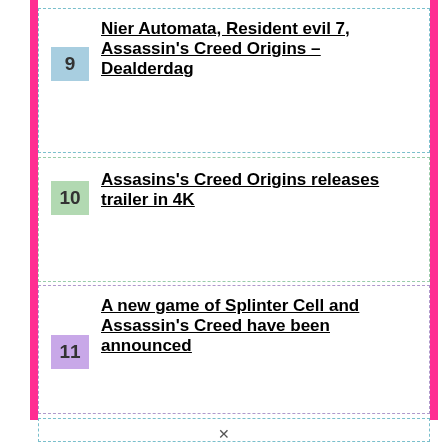9 Nier Automata, Resident evil 7, Assassin's Creed Origins – Dealderdag
10 Assasins's Creed Origins releases trailer in 4K
11 A new game of Splinter Cell and Assassin's Creed have been announced